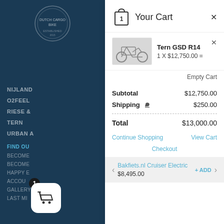[Figure (screenshot): Dark blue sidebar with Dutch Cargo Bike logo and navigation menu items including NIJLAND, O2FEEL, RIESE &, TERN, URBAN A, FIND OU, BECOME, BECOME, HAPPY E, ACCOU, GALLERY, LAST MI]
[Figure (screenshot): Shopping cart popup panel showing Your Cart header with close button, product Tern GSD R14 at 1 x $12,750.00, subtotal $12,750.00, shipping $250.00, total $13,000.00, Continue Shopping, View Cart, and Checkout links, plus upsell for Bakfiets.nl Cruiser Electric at $8,495.00]
Your Cart
Tern GSD R14
1 X $12,750.00 =
Empty Cart
Subtotal $12,750.00
Shipping $250.00
Total $13,000.00
Continue Shopping
View Cart
Checkout
Bakfiets.nl Cruiser Electric
$8,495.00
+ ADD